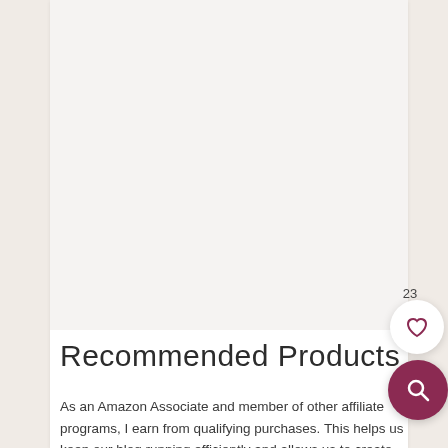[Figure (other): Large white/light gray image placeholder area at top of card]
Recommended Products
As an Amazon Associate and member of other affiliate programs, I earn from qualifying purchases. This helps us keep our blog running efficiently and allows us to create